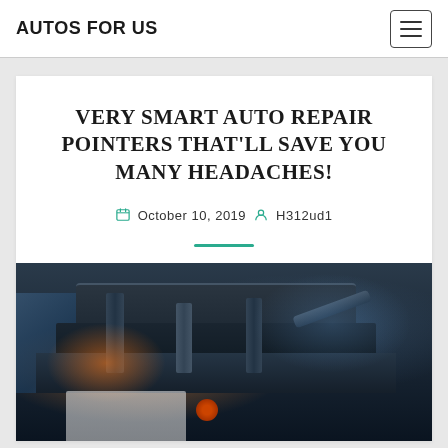AUTOS FOR US
VERY SMART AUTO REPAIR POINTERS THAT'LL SAVE YOU MANY HEADACHES!
October 10, 2019  H312ud1
[Figure (photo): Close-up photo of a car engine bay with a mechanic's hand visible, showing engine components, pipes, hoses, and a red oil cap. Orange light glare visible on the left side.]